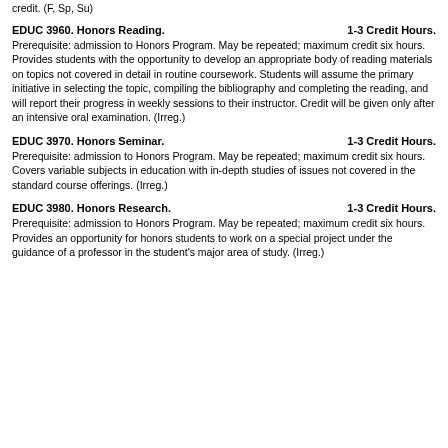credit. (F, Sp, Su)
EDUC 3960. Honors Reading. 1-3 Credit Hours.
Prerequisite: admission to Honors Program. May be repeated; maximum credit six hours. Provides students with the opportunity to develop an appropriate body of reading materials on topics not covered in detail in routine coursework. Students will assume the primary initiative in selecting the topic, compiling the bibliography and completing the reading, and will report their progress in weekly sessions to their instructor. Credit will be given only after an intensive oral examination. (Irreg.)
EDUC 3970. Honors Seminar. 1-3 Credit Hours.
Prerequisite: admission to Honors Program. May be repeated; maximum credit six hours. Covers variable subjects in education with in-depth studies of issues not covered in the standard course offerings. (Irreg.)
EDUC 3980. Honors Research. 1-3 Credit Hours.
Prerequisite: admission to Honors Program. May be repeated; maximum credit six hours. Provides an opportunity for honors students to work on a special project under the guidance of a professor in the student's major area of study. (Irreg.)